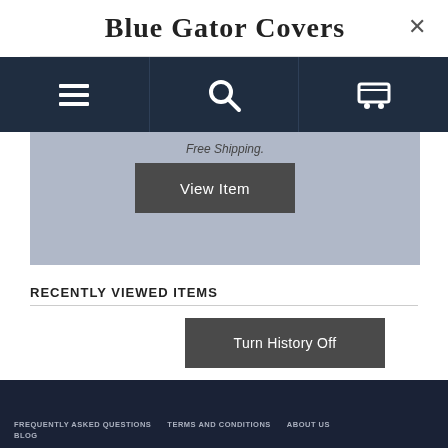Blue Gator Covers
[Figure (screenshot): Navigation bar with hamburger menu icon, search icon, and shopping cart icon on dark navy background]
Free Shipping.
View Item
RECENTLY VIEWED ITEMS
Turn History Off
FREQUENTLY ASKED QUESTIONS   TERMS AND CONDITIONS   ABOUT US   BLOG